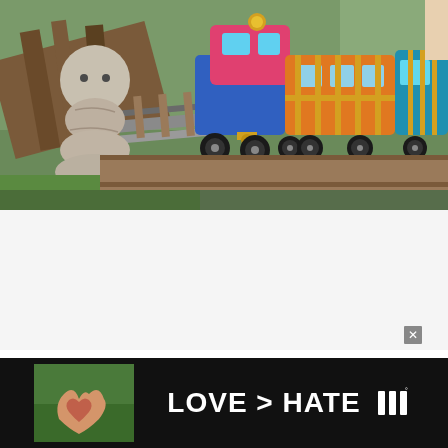[Figure (photo): A colorful miniature amusement park train with pink, blue, and orange cars on a wooden track. A stone or concrete decorative figure is visible on the left side. Green trees in the background. A person's shoulder is visible at the far right.]
[Figure (photo): Advertisement banner with black background. Shows two hands forming a heart shape against a green outdoor background on the left. Text reads 'LOVE > HATE' in large white bold letters. A close button (X) is in the upper right of the ad area. A logo appears on the far right.]